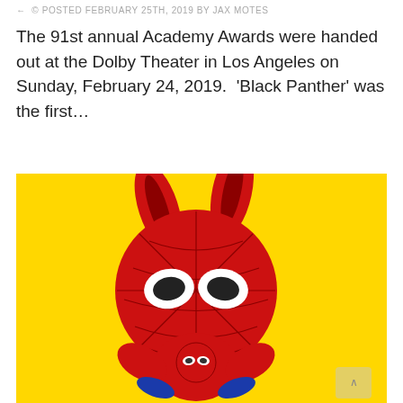© POSTED FEBRUARY 25TH, 2019 BY JAX MOTES
The 91st annual Academy Awards were handed out at the Dolby Theater in Los Angeles on Sunday, February 24, 2019.  'Black Panther' was the first…
[Figure (illustration): Cartoon illustration of Spider-Ham (a pig version of Spider-Man) with bunny ears on a bright yellow background. The character has a large round red Spider-Man-masked head with white eyes and web pattern, small Spider-Man face on the chest/body area, and blue and red costume arms. Bright yellow background fills the image.]